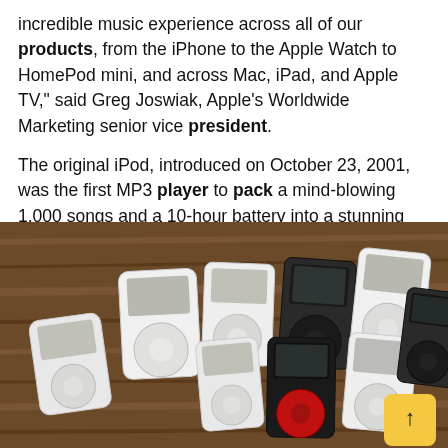incredible music experience across all of our products, from the iPhone to the Apple Watch to HomePod mini, and across Mac, iPad, and Apple TV," said Greg Joswiak, Apple's Worldwide Marketing senior vice president.
The original iPod, introduced on October 23, 2001, was the first MP3 player to pack a mind-blowing 1,000 songs and a 10-hour battery into a stunning 6.5-ounce package.
[Figure (photo): Collection of various iPod generations laid out on a wooden table, showing multiple white and black iPod classic models with click wheels and screens, viewed from above.]